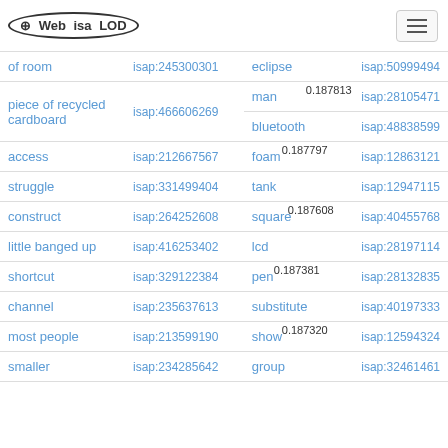Web isa LOD
| term | isap id | term | isap id |
| --- | --- | --- | --- |
| of room | isap:245300301 | eclipse | isap:50999494 |
| piece of recycled cardboard | isap:466606269 | man | isap:28105471 |
|  |  | bluetooth | isap:48838599 |
| access | isap:212667567 | foam | isap:12863121 |
| struggle | isap:331499404 | tank | isap:12947115 |
| construct | isap:264252608 | square | isap:40455768 |
| little banged up | isap:416253402 | lcd | isap:28197114 |
| shortcut | isap:329122384 | pen | isap:28132835 |
| channel | isap:235637613 | substitute | isap:40197333 |
| most people | isap:213599190 | show | isap:12594324 |
| smaller | isap:234285642 | group | isap:32461461 |